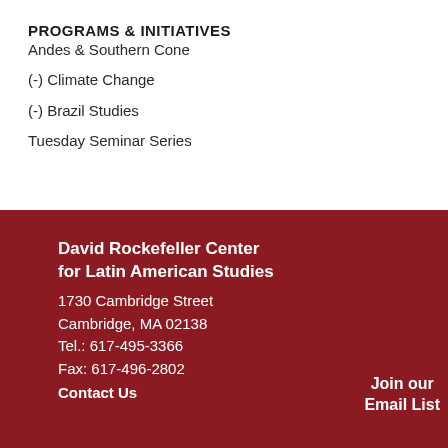PROGRAMS & INITIATIVES
Andes & Southern Cone
(-) Climate Change
(-) Brazil Studies
Tuesday Seminar Series
David Rockefeller Center for Latin American Studies
1730 Cambridge Street
Cambridge, MA 02138
Tel.: 617-495-3366
Fax: 617-496-2802
Contact Us
Join our Email List